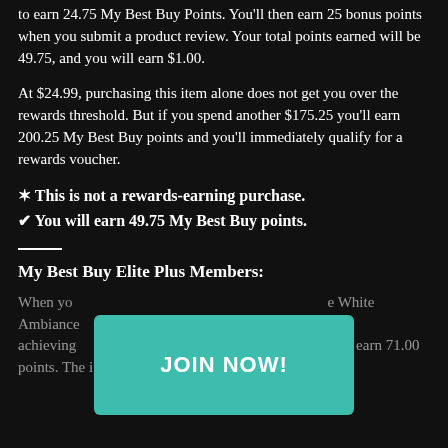to earn 24.75 My Best Buy Points. You'll then earn 25 bonus points when you submit a product review. Your total points earned will be 49.75, and you will earn $1.00.
At $24.99, purchasing this item alone does not get you over the rewards threshold. But if you spend another $175.25 you'll earn 200.25 My Best Buy points and you'll immediately qualify for a rewards voucher.
✶ This is not a rewards-earning purchase.
✔ You will earn 49.75 My Best Buy points.
My Best Buy Elite Plus Members:
When yo... White Ambiance... er achieving... s status you'll earn 71.00 points. The if you...
[Figure (other): Teal/green JOIN NOW! button overlay]